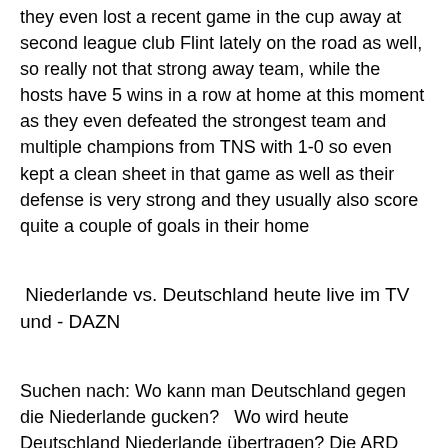they even lost a recent game in the cup away at second league club Flint lately on the road as well, so really not that strong away team, while the hosts have 5 wins in a row at home at this moment as they even defeated the strongest team and multiple champions from TNS with 1-0 so even kept a clean sheet in that game as well as their defense is very strong and they usually also score quite a couple of goals in their home
Niederlande vs. Deutschland heute live im TV und - DAZN
Suchen nach: Wo kann man Deutschland gegen die Niederlande gucken?   Wo wird heute Deutschland Niederlande übertragen? Die ARD zeigt das Fußball-Freundschaftsspiel Deutschland gegen die